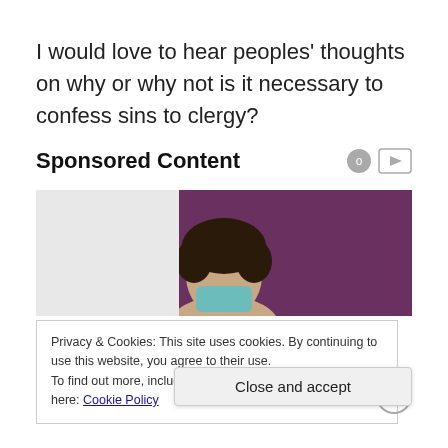I would love to hear peoples' thoughts on why or why not is it necessary to confess sins to clergy?
Sponsored Content
[Figure (photo): Person with curly dark hair partially visible against a purple/mauve curtain background – top portion of an advertisement image]
Privacy & Cookies: This site uses cookies. By continuing to use this website, you agree to their use.
To find out more, including how to control cookies, see here: Cookie Policy
Close and accept